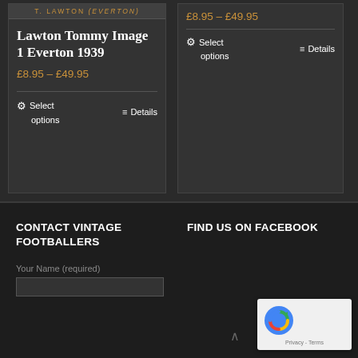Lawton Tommy Image 1 Everton 1939
£8.95 – £49.95
⚙ Select options   ≡ Details
£8.95 – £49.95
⚙ Select options   ≡ Details
CONTACT VINTAGE FOOTBALLERS
FIND US ON FACEBOOK
Your Name (required)
[Figure (other): reCAPTCHA widget showing spinning arrows logo with Privacy and Terms text]